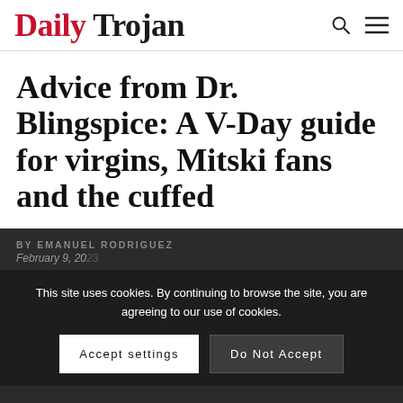DAILY TROJAN
Advice from Dr. Blingspice: A V-Day guide for virgins, Mitski fans and the cuffed
BY EMANUEL RODRIGUEZ
February 9, 20...
This site uses cookies. By continuing to browse the site, you are agreeing to our use of cookies.